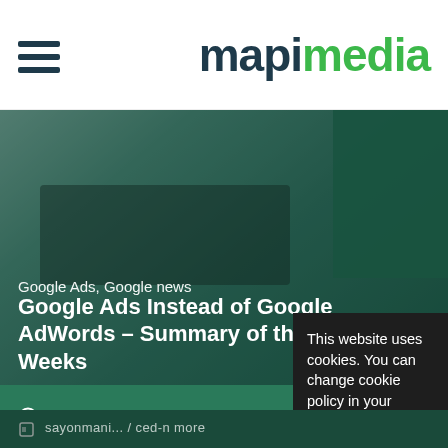mapimedia
[Figure (photo): Close-up photo of hands typing on a laptop keyboard with green teal overlay, with a dark green decorative block in the top-right corner]
Google Ads, Google news
Google Ads Instead of Google AdWords – Summary of the First Weeks
8 August
This website uses cookies. You can change cookie policy in your browser settings. You can find more information in our privacy policy. Learn more.
Close
sayonmani... / ced-n more